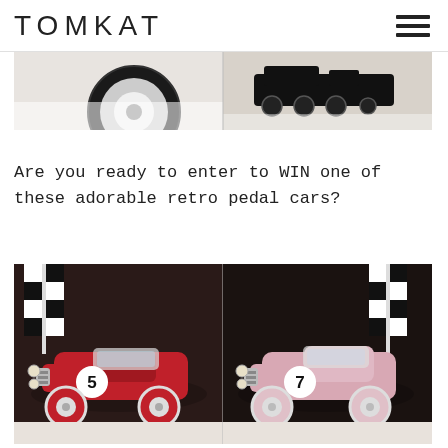TOMKAT
[Figure (photo): Two side-by-side cropped photos: left shows a white toy wheel/pedal car detail on a white surface; right shows a black vintage toy train on a light background.]
Are you ready to enter to WIN one of these adorable retro pedal cars?
[Figure (photo): Two side-by-side photos of retro pedal cars on a black-and-white checkered flag background. Left: red pedal car with number 5. Right: pink pedal car with number 7.]